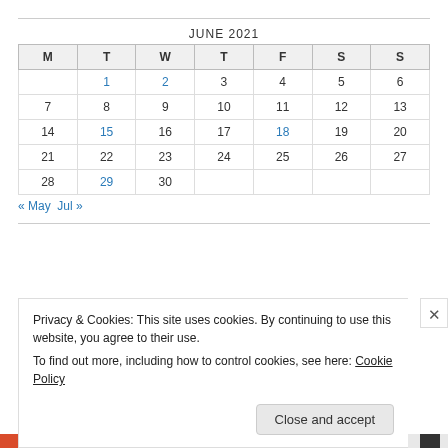JUNE 2021
| M | T | W | T | F | S | S |
| --- | --- | --- | --- | --- | --- | --- |
|  | 1 | 2 | 3 | 4 | 5 | 6 |
| 7 | 8 | 9 | 10 | 11 | 12 | 13 |
| 14 | 15 | 16 | 17 | 18 | 19 | 20 |
| 21 | 22 | 23 | 24 | 25 | 26 | 27 |
| 28 | 29 | 30 |  |  |  |  |
« May   Jul »
Privacy & Cookies: This site uses cookies. By continuing to use this website, you agree to their use.
To find out more, including how to control cookies, see here: Cookie Policy
Close and accept